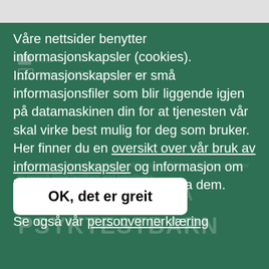Våre nettsider benytter informasjonskapsler (cookies). Informasjonskapsler er små informasjonsfiler som blir liggende igjen på datamaskinen din for at tjenesten vår skal virke best mulig for deg som bruker. Her finner du en oversikt over vår bruk av informasjonskapsler og informasjon om hvordan du kan unngå å godta dem.
Se også vår personvernerklæring
OK, det er greit